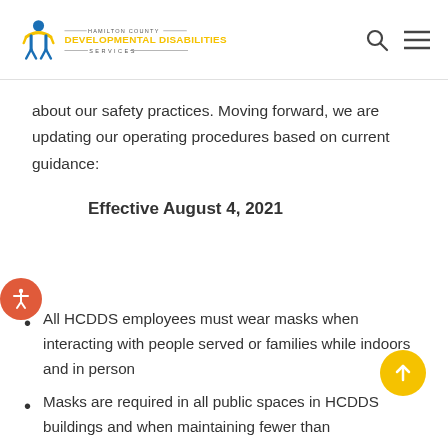Hamilton County Developmental Disabilities Services
about our safety practices. Moving forward, we are updating our operating procedures based on current guidance:
Effective August 4, 2021
All HCDDS employees must wear masks when interacting with people served or families while indoors and in person
Masks are required in all public spaces in HCDDS buildings and when maintaining fewer than...